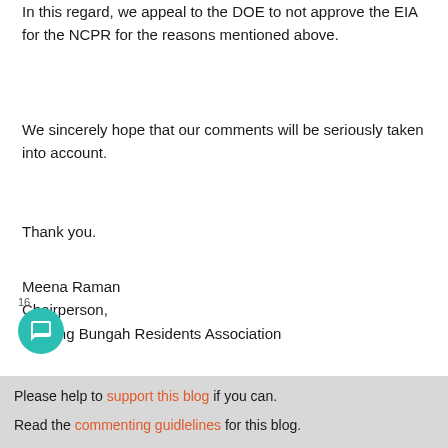In this regard, we appeal to the DOE to not approve the EIA for the NCPR for the reasons mentioned above.
We sincerely hope that our comments will be seriously taken into account.
Thank you.
Meena Raman
Chairperson,
Tanjung Bungah Residents Association
Please help to support this blog if you can.
Read the commenting guidlelines for this blog.